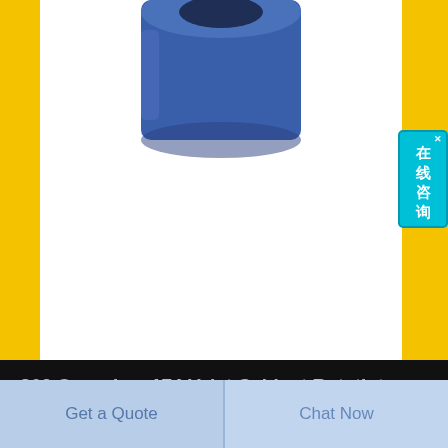[Figure (photo): Blue cylindrical plastic part (valet cabinet rotating mechanism component) shown from above on a white background, partially cropped at top]
[Figure (other): Chinese language chat button overlay widget — cyan/teal background with characters 在线咨询 (online consultation) and a close X button]
360 Organizer 174 Valet Cabinet Rotating Closet Closets com
Contact:  info.k@kellegco.com
Phone: [partially visible phone number]
Get a Quote
Chat Now